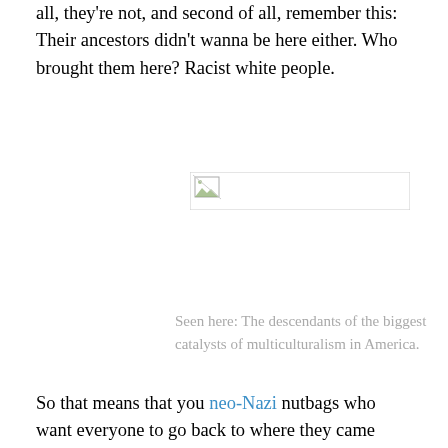all, they're not, and second of all, remember this: Their ancestors didn't wanna be here either. Who brought them here? Racist white people.
[Figure (photo): Broken/missing image placeholder with small icon in top-left corner]
Seen here: The descendants of the biggest catalysts of multiculturalism in America.
So that means that you neo-Nazi nutbags who want everyone to go back to where they came from, and yet, march for a White America are a bunch of idiotic